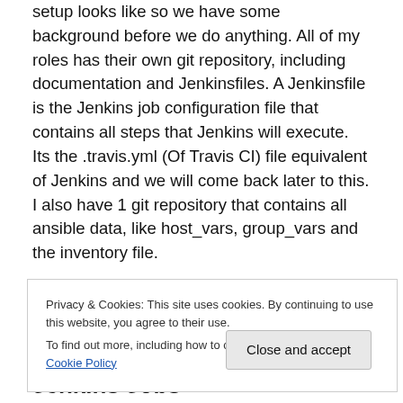Before we do anything, I'll first describe how my Ansible setup looks like so we have some background before we do anything. All of my roles has their own git repository, including documentation and Jenkinsfiles. A Jenkinsfile is the Jenkins job configuration file that contains all steps that Jenkins will execute. Its the .travis.yml (Of Travis CI) file equivalent of Jenkins and we will come back later to this. I also have 1 git repository that contains all ansible data, like host_vars, group_vars and the inventory file.
I have a Jenkins running with the Docker plugin and once a job is started, a Docker container will be started and the
Privacy & Cookies: This site uses cookies. By continuing to use this website, you agree to their use.
To find out more, including how to control cookies, see here: Cookie Policy
Close and accept
Jenkins Jobs